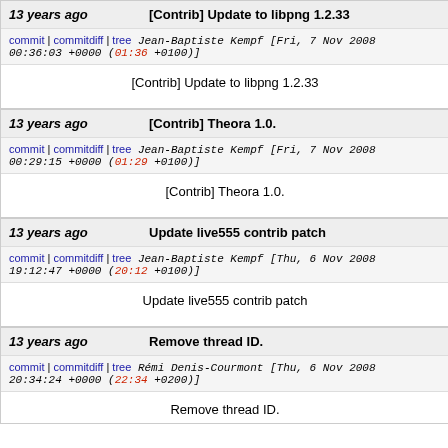13 years ago | [Contrib] Update to libpng 1.2.33
commit | commitdiff | tree   Jean-Baptiste Kempf [Fri, 7 Nov 2008 00:36:03 +0000 (01:36 +0100)]
[Contrib] Update to libpng 1.2.33
13 years ago | [Contrib] Theora 1.0.
commit | commitdiff | tree   Jean-Baptiste Kempf [Fri, 7 Nov 2008 00:29:15 +0000 (01:29 +0100)]
[Contrib] Theora 1.0.
13 years ago | Update live555 contrib patch
commit | commitdiff | tree   Jean-Baptiste Kempf [Thu, 6 Nov 2008 19:12:47 +0000 (20:12 +0100)]
Update live555 contrib patch
13 years ago | Remove thread ID.
commit | commitdiff | tree   Rémi Denis-Courmont [Thu, 6 Nov 2008 20:34:24 +0000 (22:34 +0200)]
Remove thread ID.